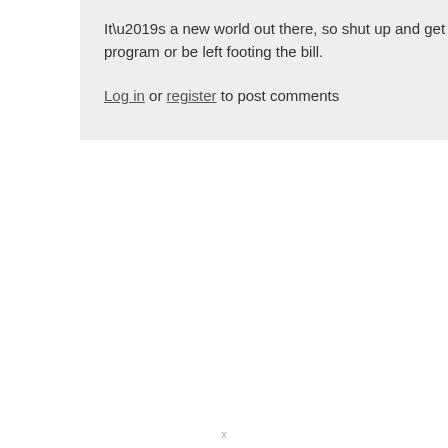It’s a new world out there, so shut up and get with the (new) program or be left footing the bill.
Log in or register to post comments
x